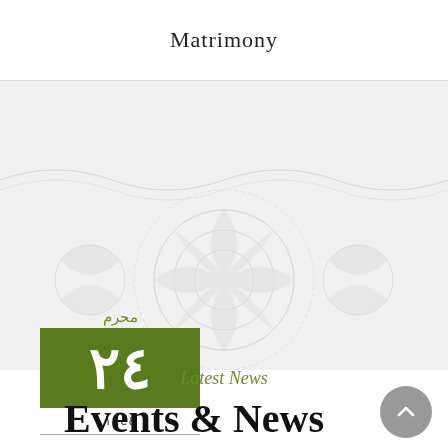Matrimony
[Figure (illustration): Decorative Islamic arabesque pattern in light grey on white/light grey background]
محرم
٢٤
١٤٤٤
Latest News
Events & News